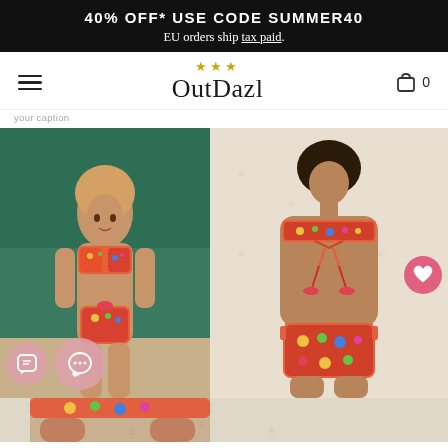40% OFF* USE CODE SUMMER40
EU orders ship tax paid.
[Figure (logo): OutDazl logo with stars and hamburger menu, cart icon showing 0 items]
your caption
[Figure (photo): Two product photos of a woman wearing a colorful floral/aztec print bikini set - front view on left showing full body by pool, back/rear view on right showing the bandeau top tie and bikini bottom details]
[Figure (photo): Partial product photo visible at bottom showing similar bikini, partially cropped]